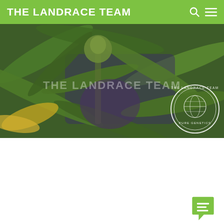THE LANDRACE TEAM
[Figure (photo): Close-up photo of cannabis plant with dark green and purple leaves, watermark text 'THE LANDRACE TEAM' and circular logo badge in bottom right corner]
MADAGASCAR SOUTH
Genetics: Madagascar South(from the S.W.)
Sourced:  via member of TLT
Latitude: 20° S
Elevation: 1000 – 2100 m.a.s.l.